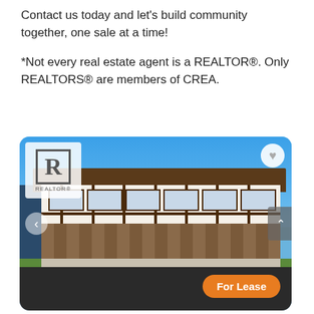Contact us today and let's build community together, one sale at a time!
*Not every real estate agent is a REALTOR®. Only REALTORS® are members of CREA.
[Figure (photo): Exterior photo of a Tudor-style townhouse/apartment building for lease, with a clear blue sky background. A REALTOR® logo appears in the top left corner of the image, a heart/favorite button in the top right, a back arrow on the left side, and an orange 'For Lease' badge in the bottom right.]